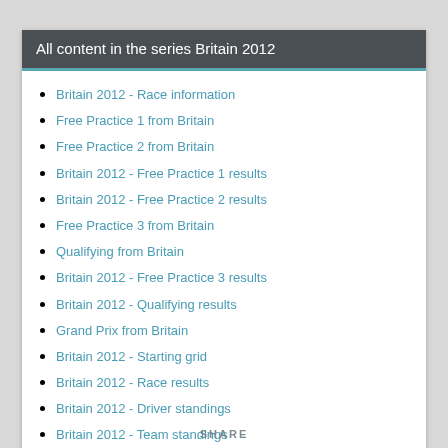All content in the series Britain 2012
Britain 2012 - Race information
Free Practice 1 from Britain
Free Practice 2 from Britain
Britain 2012 - Free Practice 1 results
Britain 2012 - Free Practice 2 results
Free Practice 3 from Britain
Qualifying from Britain
Britain 2012 - Free Practice 3 results
Britain 2012 - Qualifying results
Grand Prix from Britain
Britain 2012 - Starting grid
Britain 2012 - Race results
Britain 2012 - Driver standings
Britain 2012 - Team standings
Britain 2012 - Red Bull succeed at surprisingly sunny Silverstone
SHARE